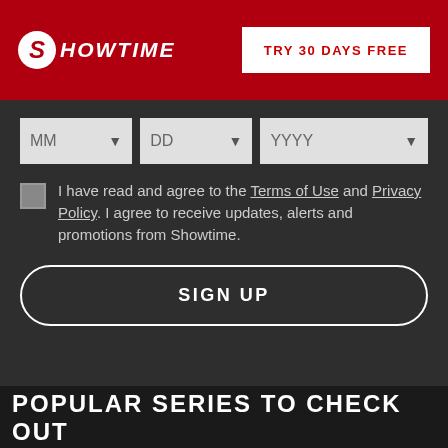[Figure (logo): Showtime logo - stylized S in circle followed by SHOWTIME text in white italic on red background]
TRY 30 DAYS FREE
[Figure (screenshot): Date of birth form row with three dropdowns: MM, DD, YYYY]
I have read and agree to the Terms of Use and Privacy Policy. I agree to receive updates, alerts and promotions from Showtime.
SIGN UP
[Figure (logo): TV-MA DLVS rating box]
ADULT CONTENT, GRAPHIC LANGUAGE, VIOLENCE, BRIEF NUDITY, VIEWER DISCRETION ADVISED.
© 2011 Showtime Networks Inc. All rights reserved.
POPULAR SERIES TO CHECK OUT